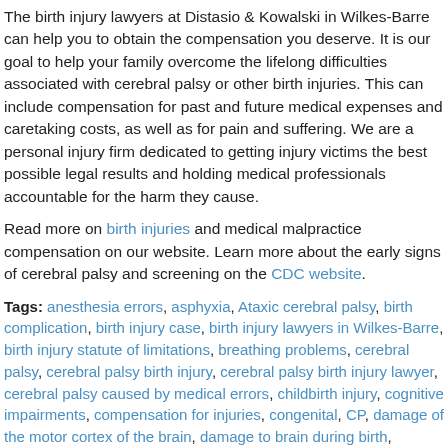The birth injury lawyers at Distasio & Kowalski in Wilkes-Barre can help you to obtain the compensation you deserve. It is our goal to help your family overcome the lifelong difficulties associated with cerebral palsy or other birth injuries. This can include compensation for past and future medical expenses and caretaking costs, as well as for pain and suffering. We are a personal injury firm dedicated to getting injury victims the best possible legal results and holding medical professionals accountable for the harm they cause.
Read more on birth injuries and medical malpractice compensation on our website. Learn more about the early signs of cerebral palsy and screening on the CDC website.
Tags: anesthesia errors, asphyxia, Ataxic cerebral palsy, birth complication, birth injury case, birth injury lawyers in Wilkes-Barre, birth injury statute of limitations, breathing problems, cerebral palsy, cerebral palsy birth injury, cerebral palsy birth injury lawyer, cerebral palsy caused by medical errors, childbirth injury, cognitive impairments, compensation for injuries, congenital, CP, damage of the motor cortex of the brain, damage to brain during birth, damage to the basal ganglia of